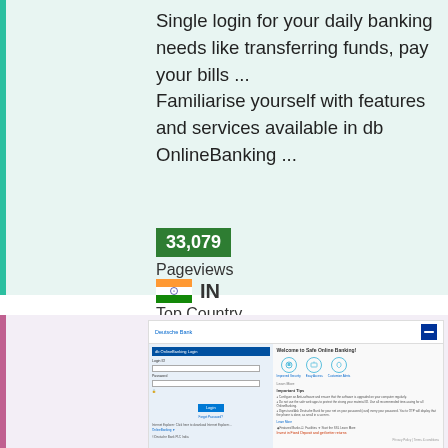Single login for your daily banking needs like transferring funds, pay your bills ... Familiarise yourself with features and services available in db OnlineBanking ...
33,079
Pageviews
IN
Top Country
Up
Site Status
2h ago
Last Pinged
[Figure (screenshot): Screenshot of Deutsche Bank db OnlineBanking login page showing login form on the left (Login ID, Password fields and Login button) and Welcome to Safe Online Banking panel on the right with three circular icons for Improved Security, Easy Access, and Customize Alerts, plus Important Tips section and footer.]